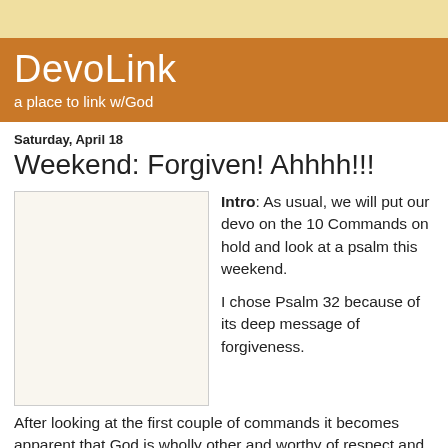DevoLink
a place to link w/God
Saturday, April 18
Weekend: Forgiven! Ahhhh!!!
[Figure (photo): Blank/placeholder image box]
Intro: As usual, we will put our devo on the 10 Commands on hold and look at a psalm this weekend.

I chose Psalm 32 because of its deep message of forgiveness.
After looking at the first couple of commands it becomes apparent that God is wholly other and worthy of respect and